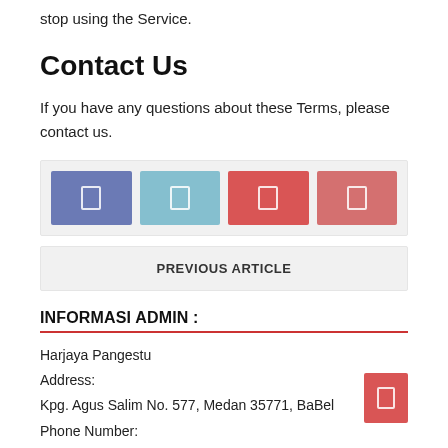stop using the Service.
Contact Us
If you have any questions about these Terms, please contact us.
[Figure (other): Social media sharing buttons: Facebook (purple), Twitter (light blue), Google+ (red), Pinterest (salmon red)]
PREVIOUS ARTICLE
INFORMASI ADMIN :
Harjaya Pangestu
Address:
Kpg. Agus Salim No. 577, Medan 35771, BaBel
Phone Number: